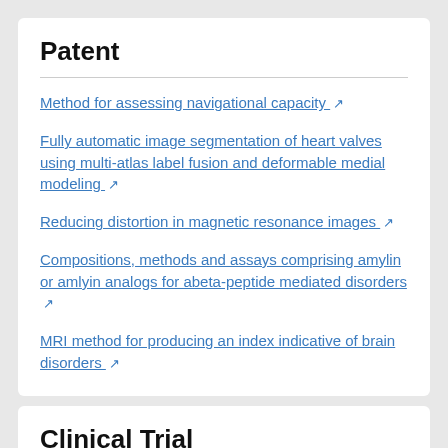Patent
Method for assessing navigational capacity ↗
Fully automatic image segmentation of heart valves using multi-atlas label fusion and deformable medial modeling ↗
Reducing distortion in magnetic resonance images ↗
Compositions, methods and assays comprising amylin or amlyin analogs for abeta-peptide mediated disorders ↗
MRI method for producing an index indicative of brain disorders ↗
Clinical Trial